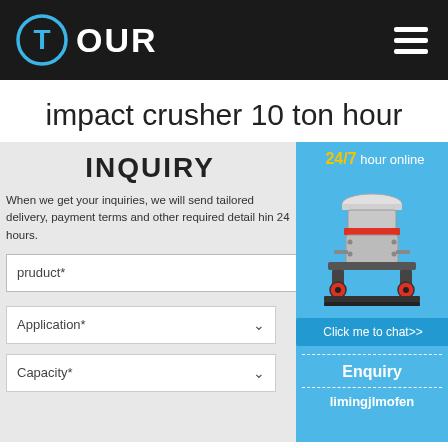[Figure (logo): TOUR logo with a T in a blue circle on a dark background with hamburger menu icon]
impact crusher 10 ton hour
INQUIRY
When we get your inquiries, we will send tailored delivery, payment terms and other required detail within 24 hours.
pruduct*
Application*
Capacity*
[Figure (photo): Cone crusher machine on light blue background with 24/7 hour online text, Click me to chat>> button, Enquiry section and limingjlmofen text]